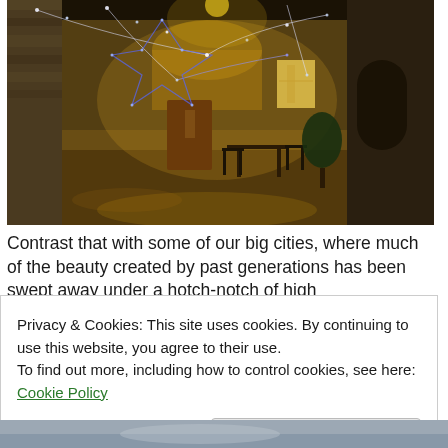[Figure (photo): Night photograph of a medieval stone alley or courtyard decorated with fairy lights strung overhead. Warm golden light illuminates stone buildings, a wooden door, outdoor chairs and tables, and a plant. The fairy lights form a star or cross shape against the dark sky.]
Contrast that with some of our big cities, where much of the beauty created by past generations has been swept away under a hotch-potch of high
Privacy & Cookies: This site uses cookies. By continuing to use this website, you agree to their use.
To find out more, including how to control cookies, see here: Cookie Policy
Close and accept